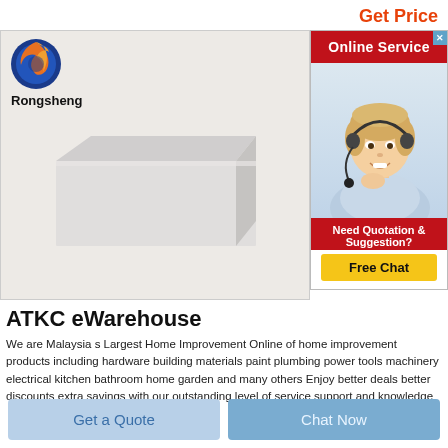Get Price
[Figure (screenshot): Product image showing a white rectangular box/container on a light textured background with Rongsheng logo (globe icon) and text in top left]
[Figure (screenshot): Online Service panel with red header reading 'Online Service', photo of a blonde female customer service agent wearing headset and smiling, red section with text 'Need Quotation & Suggestion?' and yellow 'Free Chat' button]
ATKC eWarehouse
We are Malaysia s Largest Home Improvement Online of home improvement products including hardware building materials paint plumbing power tools machinery electrical kitchen bathroom home garden and many others Enjoy better deals better discounts extra savings with our outstanding level of service support and knowledge
Get a Quote
Chat Now